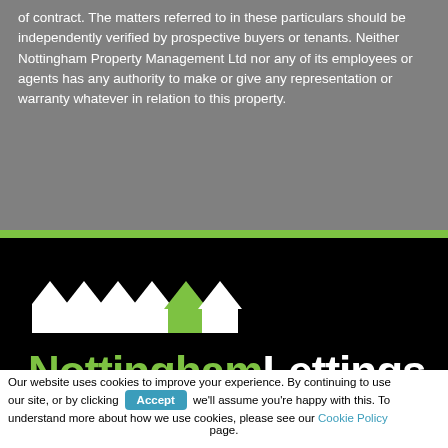of contract. The matters referred to in these particulars should be independently verified by prospective buyers or tenants. Neither Nottingham Property Management Ltd nor any of its employees or agents has any authority to make or give any representation or warranty whatever in relation to this property.
[Figure (logo): NottinghamLettings logo on black background with house icons (white houses and one green house), green 'Nottingham' text, white 'Lettings' text, and tagline "Nottingham's Favourite Letting Agent"]
Our website uses cookies to improve your experience. By continuing to use our site, or by clicking Accept we'll assume you're happy with this. To understand more about how we use cookies, please see our Cookie Policy page.